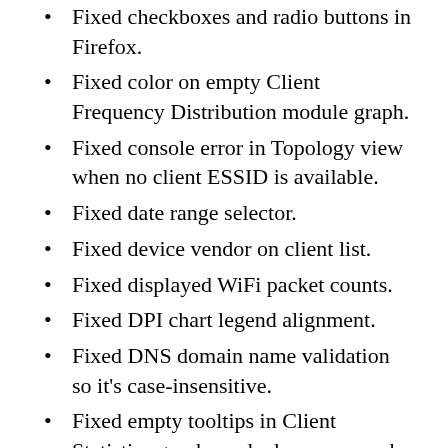Fixed checkboxes and radio buttons in Firefox.
Fixed color on empty Client Frequency Distribution module graph.
Fixed console error in Topology view when no client ESSID is available.
Fixed date range selector.
Fixed device vendor on client list.
Fixed displayed WiFi packet counts.
Fixed DPI chart legend alignment.
Fixed DNS domain name validation so it's case-insensitive.
Fixed empty tooltips in Client Statistics graphs and when password strength is good or great.
Fixed error messages in console.
Fixed error when trying to run scan via